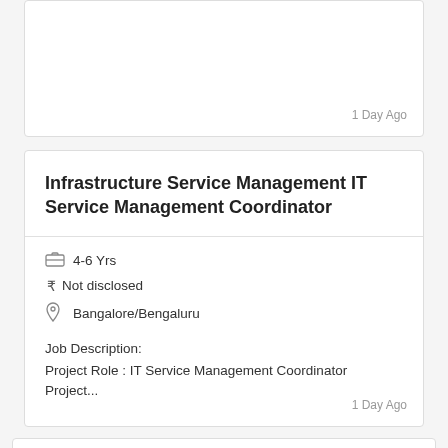1 Day Ago
Infrastructure Service Management IT Service Management Coordinator
4-6 Yrs
Not disclosed
Bangalore/Bengaluru
Job Description:
Project Role : IT Service Management Coordinator Project...
1 Day Ago